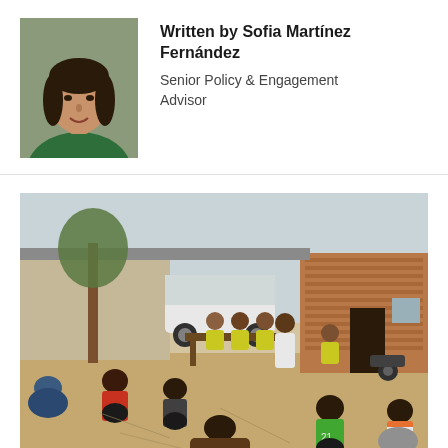[Figure (photo): Portrait photo of Sofia Martinez Fernández, a woman with dark hair wearing a green top]
Written by Sofia Martínez Fernández
Senior Policy & Engagement Advisor
[Figure (photo): Outdoor community meeting scene in an arid African setting. People in yellow vests sit at a table while community members sit on the ground in front of them. A person in a white shirt stands in the middle. A brick building and trees are visible in the background.]